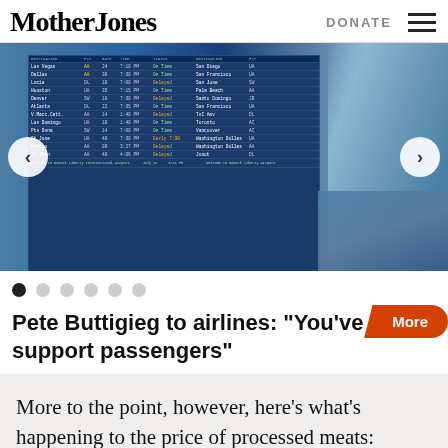Mother Jones | DONATE
[Figure (photo): Airport departure board with a masked person visible on the right side, with navigation arrows on left and right]
Pete Buttigieg to airlines: “You’ve got to support passengers”
More to the point, however, here’s what’s happening to the price of processed meats: